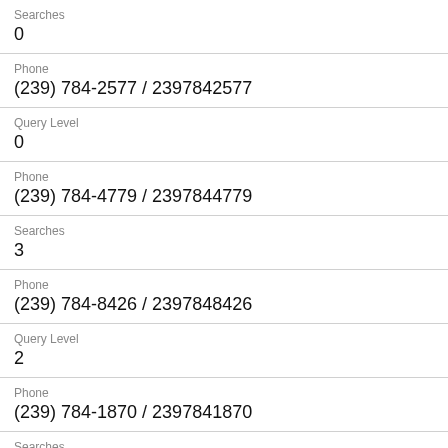Searches
0
Phone
(239) 784-2577 / 2397842577
Query Level
0
Phone
(239) 784-4779 / 2397844779
Searches
3
Phone
(239) 784-8426 / 2397848426
Query Level
2
Phone
(239) 784-1870 / 2397841870
Searches
5
Phone